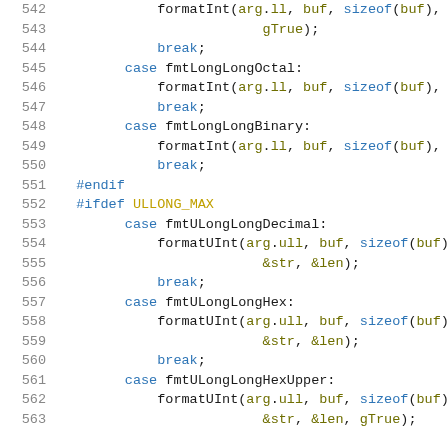Source code listing lines 542-563 showing C/C++ switch-case code with preprocessor directives for integer formatting functions.